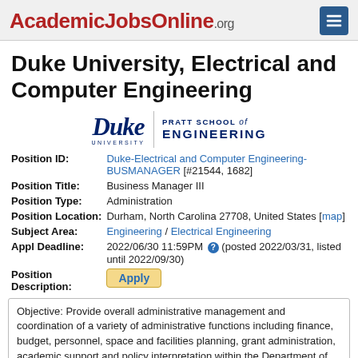AcademicJobsOnline.org
Duke University, Electrical and Computer Engineering
[Figure (logo): Duke University and Pratt School of Engineering logo]
| Position ID: | Duke-Electrical and Computer Engineering-BUSMANAGER [#21544, 1682] |
| Position Title: | Business Manager III |
| Position Type: | Administration |
| Position Location: | Durham, North Carolina 27708, United States [map] |
| Subject Area: | Engineering / Electrical Engineering |
| Appl Deadline: | 2022/06/30 11:59PM (posted 2022/03/31, listed until 2022/09/30) |
| Position Description: | Apply |
Objective: Provide overall administrative management and coordination of a variety of administrative functions including finance, budget, personnel, space and facilities planning, grant administration, academic support and policy interpretation within the Department of Electrical and Computer Engineering. Financial /Grant Management: Plan department budget needs and analyze